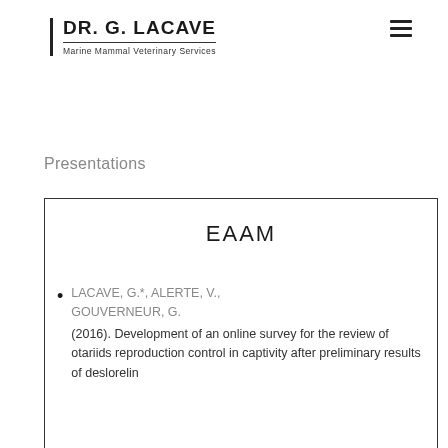DR. G. LACAVE | Marine Mammal Veterinary Services
Presentations
EAAM
LACAVE, G.*, ALERTE, V., GOUVERNEUR, G. (2016).  Development of an online survey for the review of otariids reproduction control in captivity after preliminary results of deslorelin